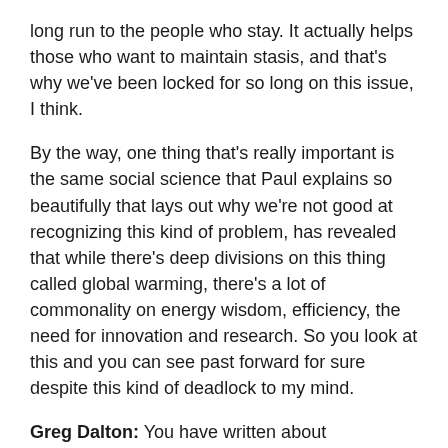long run to the people who stay. It actually helps those who want to maintain stasis, and that's why we've been locked for so long on this issue, I think.
By the way, one thing that's really important is the same social science that Paul explains so beautifully that lays out why we're not good at recognizing this kind of problem, has revealed that while there's deep divisions on this thing called global warming, there's a lot of commonality on energy wisdom, efficiency, the need for innovation and research. So you look at this and you can see past forward for sure despite this kind of deadlock to my mind.
Greg Dalton: You have written about inconvenient minds and the climate in our heads. Is that what you're talking about?
Andy Revkin: I think Paul and I both participated